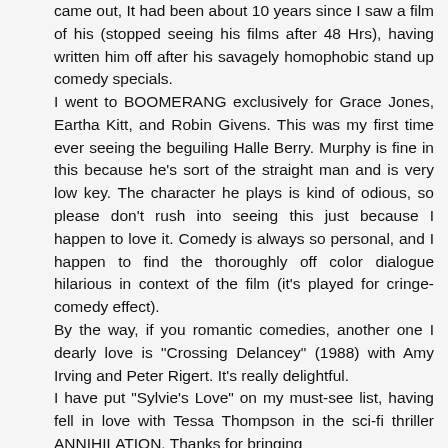came out, It had been about 10 years since I saw a film of his (stopped seeing his films after 48 Hrs), having written him off after his savagely homophobic stand up comedy specials. I went to BOOMERANG exclusively for Grace Jones, Eartha Kitt, and Robin Givens. This was my first time ever seeing the beguiling Halle Berry. Murphy is fine in this because he's sort of the straight man and is very low key. The character he plays is kind of odious, so please don't rush into seeing this just because I happen to love it. Comedy is always so personal, and I happen to find the thoroughly off color dialogue hilarious in context of the film (it's played for cringe-comedy effect). By the way, if you romantic comedies, another one I dearly love is "Crossing Delancey" (1988) with Amy Irving and Peter Rigert. It's really delightful. I have put "Sylvie's Love" on my must-see list, having fell in love with Tessa Thompson in the sci-fi thriller ANNIHILATION. Thanks for bringing